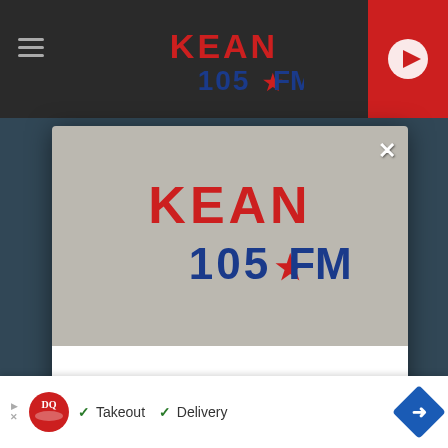[Figure (screenshot): KEAN 105.1 FM radio website screenshot with modal popup dialog. Header shows KEAN 105.1 FM logo and hamburger menu. Modal has logo, download app text, red button, and Amazon Alexa option. Bottom shows DQ advertisement.]
DOWNLOAD THE KEAN 105 MOBILE APP
GET OUR FREE MOBILE APP
Also listen on:  amazon alexa
✓ Takeout  ✓ Delivery